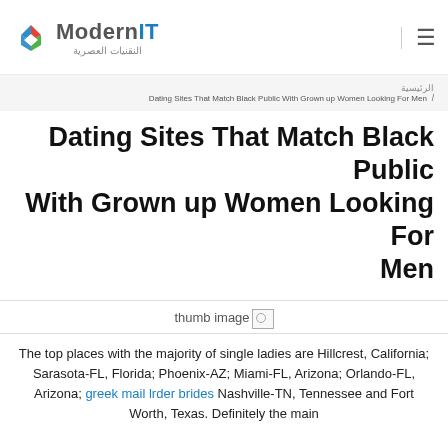[Figure (logo): Modern IT logo with diamond/rhombus icon in red, blue, green colors and text 'Modern IT' with Arabic subtitle النقنيات العصرية]
الرئيسية / Dating Sites That Match Black Public With Grown up Women Looking For Men
Dating Sites That Match Black Public With Grown up Women Looking For Men
[Figure (photo): thumb image (broken/missing image placeholder)]
The top places with the majority of single ladies are Hillcrest, California; Sarasota-FL, Florida; Phoenix-AZ; Miami-FL, Arizona; Orlando-FL, Arizona; greek mail lrder brides Nashville-TN, Tennessee and Fort Worth, Texas. Definitely the main